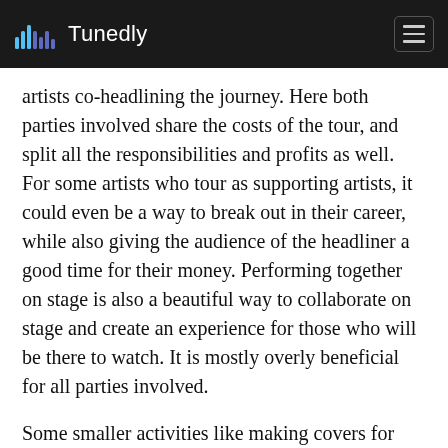Tunedly
artists co-headlining the journey. Here both parties involved share the costs of the tour, and split all the responsibilities and profits as well. For some artists who tour as supporting artists, it could even be a way to break out in their career, while also giving the audience of the headliner a good time for their money. Performing together on stage is also a beautiful way to collaborate on stage and create an experience for those who will be there to watch. It is mostly overly beneficial for all parties involved.
Some smaller activities like making covers for each other's songs, going on instagram lives together, cross promoting each other on social media,